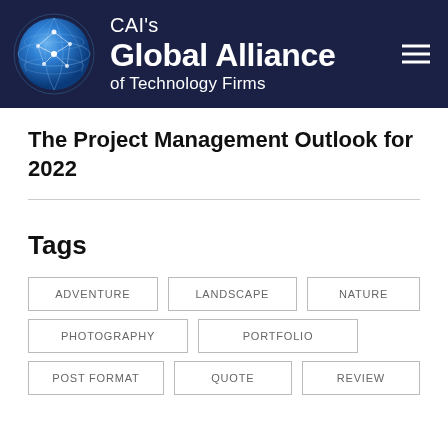[Figure (logo): CAI's Global Alliance of Technology Firms logo with blue globe graphic on dark navy background header with hamburger menu icon]
The Project Management Outlook for 2022
Tags
ADVENTURE
LANDSCAPE
NATURE
PHOTOGRAPHY
PORTFOLIO
POST FORMAT
QUOTE
REVIEW